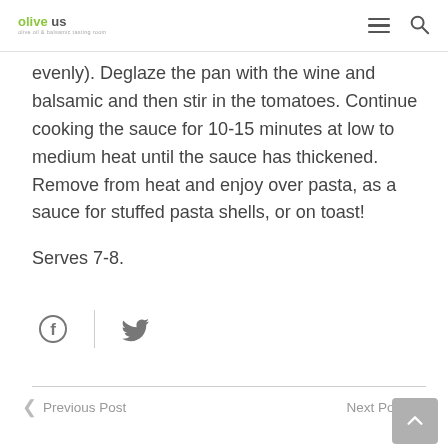olive us
evenly). Deglaze the pan with the wine and balsamic and then stir in the tomatoes. Continue cooking the sauce for 10-15 minutes at low to medium heat until the sauce has thickened. Remove from heat and enjoy over pasta, as a sauce for stuffed pasta shells, or on toast!
Serves 7-8.
[Figure (other): Social sharing icons: Facebook and Twitter]
Previous Post   Next Post